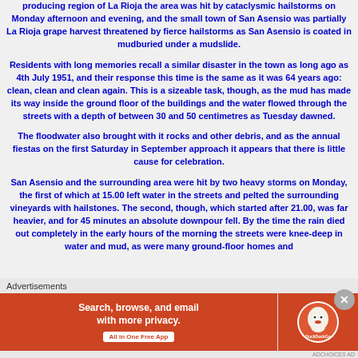producing region of La Rioja the area was hit by cataclysmic hailstorms on Monday afternoon and evening, and the small town of San Asensio was partially La Rioja grape harvest threatened by fierce hailstorms as San Asensio is coated in mudburied under a mudslide.
Residents with long memories recall a similar disaster in the town as long ago as 4th July 1951, and their response this time is the same as it was 64 years ago: clean, clean and clean again. This is a sizeable task, though, as the mud has made its way inside the ground floor of the buildings and the water flowed through the streets with a depth of between 30 and 50 centimetres as Tuesday dawned.
The floodwater also brought with it rocks and other debris, and as the annual fiestas on the first Saturday in September approach it appears that there is little cause for celebration.
San Asensio and the surrounding area were hit by two heavy storms on Monday, the first of which at 15.00 left water in the streets and pelted the surrounding vineyards with hailstones. The second, though, which started after 21.00, was far heavier, and for 45 minutes an absolute downpour fell. By the time the rain died out completely in the early hours of the morning the streets were knee-deep in water and mud, as were many ground-floor homes and
Advertisements
[Figure (infographic): DuckDuckGo advertisement banner: orange background with text 'Search, browse, and email with more privacy. All in One Free App' and DuckDuckGo duck logo on the right side.]